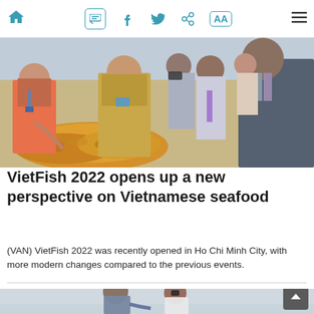Navigation bar with home, chat, facebook, twitter, link, AA text size, and menu icons
[Figure (photo): Crowd at VietFish 2022 seafood expo, women in colorful traditional clothes examining dried seafood products on display table]
VietFish 2022 opens up a new perspective on Vietnamese seafood
(VAN) VietFish 2022 was recently opened in Ho Chi Minh City, with more modern changes compared to the previous events.
[Figure (photo): Two men outdoors near water, one in blue shirt gesturing, one in white shirt and cap, overcast sky background]